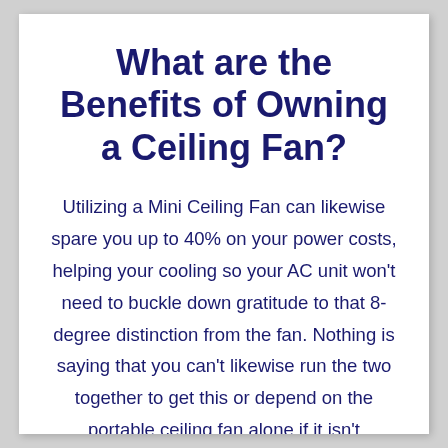What are the Benefits of Owning a Ceiling Fan?
Utilizing a Mini Ceiling Fan can likewise spare you up to 40% on your power costs, helping your cooling so your AC unit won't need to buckle down gratitude to that 8-degree distinction from the fan. Nothing is saying that you can't likewise run the two together to get this or depend on the portable ceiling fan alone if it isn't excessively hot. If your AC unit goes out, you will additionally